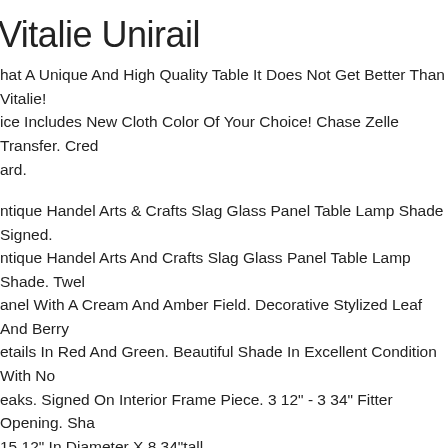Vitalie Unirail
hat A Unique And High Quality Table It Does Not Get Better Than Vitalie! ice Includes New Cloth Color Of Your Choice! Chase Zelle Transfer. Cred ard.
ntique Handel Arts & Crafts Slag Glass Panel Table Lamp Shade Signed. ntique Handel Arts And Crafts Slag Glass Panel Table Lamp Shade. Twel anel With A Cream And Amber Field. Decorative Stylized Leaf And Berry etails In Red And Green. Beautiful Shade In Excellent Condition With No eaks. Signed On Interior Frame Piece. 3 12" - 3 34" Fitter Opening. Sha 15 12" In Diameter X 8 34"tall.
Vintage Burl Wood And Brass Oval Three-tier Rolling Bar Cart Or Serving Table
aterials Mahogany, Satinwood, Brass. Minor Surface Wear And Oxidation